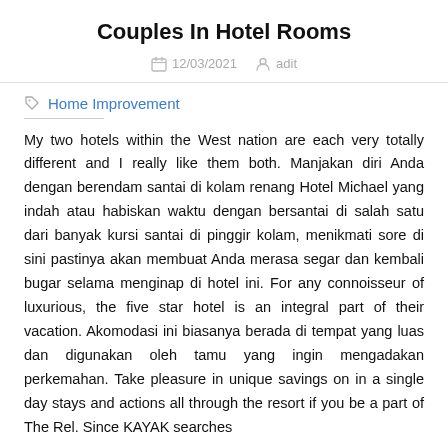Couples In Hotel Rooms
12/03/2021   adit
Home Improvement
My two hotels within the West nation are each very totally different and I really like them both. Manjakan diri Anda dengan berendam santai di kolam renang Hotel Michael yang indah atau habiskan waktu dengan bersantai di salah satu dari banyak kursi santai di pinggir kolam, menikmati sore di sini pastinya akan membuat Anda merasa segar dan kembali bugar selama menginap di hotel ini. For any connoisseur of luxurious, the five star hotel is an integral part of their vacation. Akomodasi ini biasanya berada di tempat yang luas dan digunakan oleh tamu yang ingin mengadakan perkemahan. Take pleasure in unique savings on in a single day stays and actions all through the resort if you be a part of The Rel. Since KAYAK searches